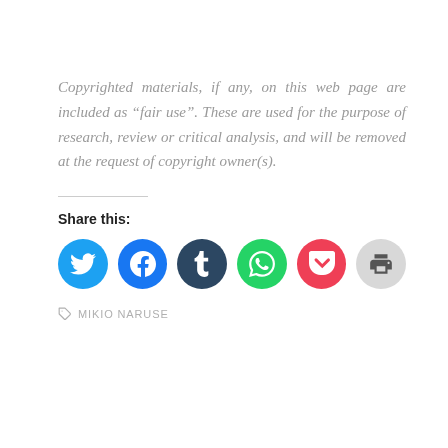Copyrighted materials, if any, on this web page are included as “fair use”. These are used for the purpose of research, review or critical analysis, and will be removed at the request of copyright owner(s).
Share this:
[Figure (infographic): Six circular social sharing icons: Twitter (blue), Facebook (blue), Tumblr (dark navy), WhatsApp (green), Pocket (red/pink), Print (light gray)]
MIKIO NARUSE